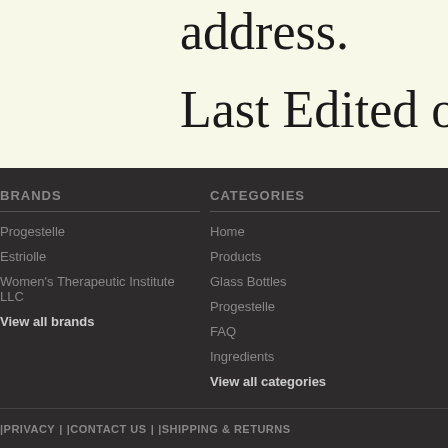address.
Last Edited on 201
BRANDS
Progestelle
Estriolle
Women's Therapeutic Institute LLC
View all brands
CATEGORIES
Home
Products
Glass Bottles
Progestelle
FAQ
Ingredients
View all categories
PRIVACY  |  CONTACT US  |  SHIPPING & RETURNS